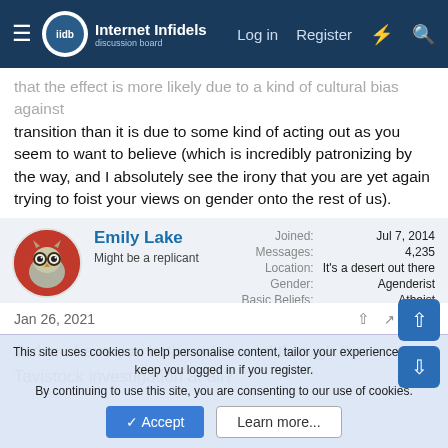Internet Infidels — Log in  Register
that the effect is more likely due to a kind of cultural bias against transition than it is due to some kind of acting out as you seem to want to believe (which is incredibly patronizing by the way, and I absolutely see the irony that you are yet again trying to foist your views on gender onto the rest of us).
Emily Lake
Might be a replicant
Joined: Jul 7, 2014
Messages: 4,235
Location: It's a desert out there
Gender: Agenderist
Basic Beliefs: Atheist
Jan 26, 2021  #45
Jarhyn, have you bothered to read through the Tavistock investigation at all?
This site uses cookies to help personalise content, tailor your experience and to keep you logged in if you register.
By continuing to use this site, you are consenting to our use of cookies.